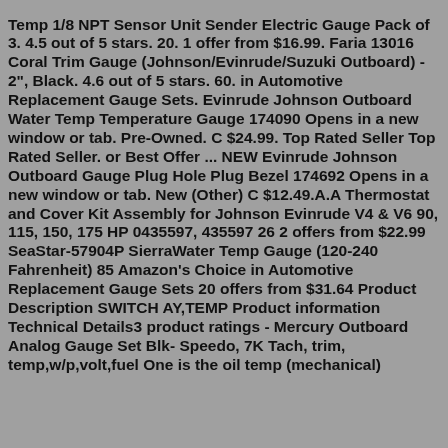Temp 1/8 NPT Sensor Unit Sender Electric Gauge Pack of 3. 4.5 out of 5 stars. 20. 1 offer from $16.99. Faria 13016 Coral Trim Gauge (Johnson/Evinrude/Suzuki Outboard) - 2", Black. 4.6 out of 5 stars. 60. in Automotive Replacement Gauge Sets. Evinrude Johnson Outboard Water Temp Temperature Gauge 174090 Opens in a new window or tab. Pre-Owned. C $24.99. Top Rated Seller Top Rated Seller. or Best Offer ... NEW Evinrude Johnson Outboard Gauge Plug Hole Plug Bezel 174692 Opens in a new window or tab. New (Other) C $12.49.A.A Thermostat and Cover Kit Assembly for Johnson Evinrude V4 & V6 90, 115, 150, 175 HP 0435597, 435597 26 2 offers from $22.99 SeaStar-57904P SierraWater Temp Gauge (120-240 Fahrenheit) 85 Amazon's Choice in Automotive Replacement Gauge Sets 20 offers from $31.64 Product Description SWITCH AY,TEMP Product information Technical Details3 product ratings - Mercury Outboard Analog Gauge Set Blk- Speedo, 7K Tach, trim, temp,w/p,volt,fuel One is the oil temp (mechanical)